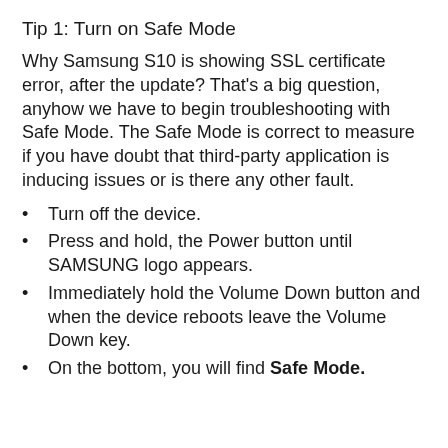Tip 1: Turn on Safe Mode
Why Samsung S10 is showing SSL certificate error, after the update? That's a big question, anyhow we have to begin troubleshooting with Safe Mode. The Safe Mode is correct to measure if you have doubt that third-party application is inducing issues or is there any other fault.
Turn off the device.
Press and hold, the Power button until SAMSUNG logo appears.
Immediately hold the Volume Down button and when the device reboots leave the Volume Down key.
On the bottom, you will find Safe Mode.